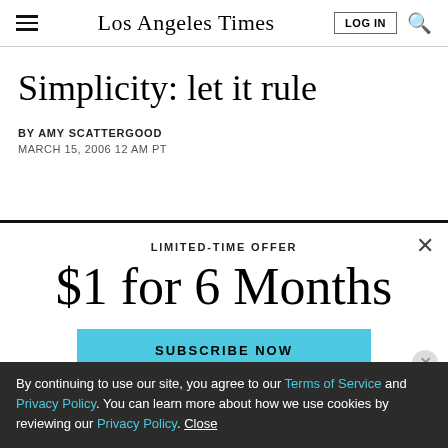Los Angeles Times
Simplicity: let it rule
BY AMY SCATTERGOOD
MARCH 15, 2006 12 AM PT
LIMITED-TIME OFFER
$1 for 6 Months
SUBSCRIBE NOW
By continuing to use our site, you agree to our Terms of Service and Privacy Policy. You can learn more about how we use cookies by reviewing our Privacy Policy. Close